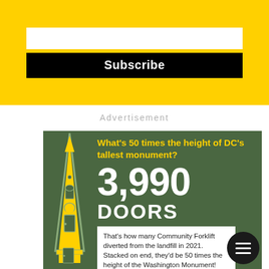[Figure (infographic): Yellow subscribe section with white input bar and black Subscribe button on yellow background]
Advertisement
[Figure (infographic): Green infographic with monument illustration. Text: What's 50 times the height of DC's tallest monument? 3,990 DOORS. That's how many Community Forklift diverted from the landfill in 2021. Stacked on end, they'd be 50 times the height of the Washington Monument!]